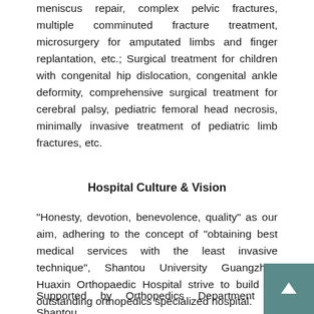meniscus repair, complex pelvic fractures, multiple comminuted fracture treatment, microsurgery for amputated limbs and finger replantation, etc.; Surgical treatment for children with congenital hip dislocation, congenital ankle deformity, comprehensive surgical treatment for cerebral palsy, pediatric femoral head necrosis, minimally invasive treatment of pediatric limb fractures, etc.
Hospital Culture & Vision
"Honesty, devotion, benevolence, quality" as our aim, adhering to the concept of "obtaining best medical services with the least invasive technique", Shantou University Guangzhou Huaxin Orthopaedic Hospital strive to build an outstanding orthopedics specialized hospital.
Supported by Orthopedics Department of Shantou